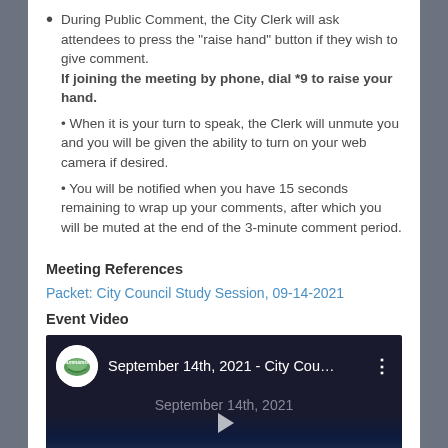During Public Comment, the City Clerk will ask attendees to press the "raise hand" button if they wish to give comment. If joining the meeting by phone, dial *9 to raise your hand.
• When it is your turn to speak, the Clerk will unmute you and you will be given the ability to turn on your web camera if desired.
• You will be notified when you have 15 seconds remaining to wrap up your comments, after which you will be muted at the end of the 3-minute comment period.
Meeting References
Packet: City Council Study Session, 09-14-2021
Event Video
[Figure (screenshot): YouTube video thumbnail showing 'September 14th, 2021 - City Cou...' with a city/municipal logo on the left, video title and date on dark background.]